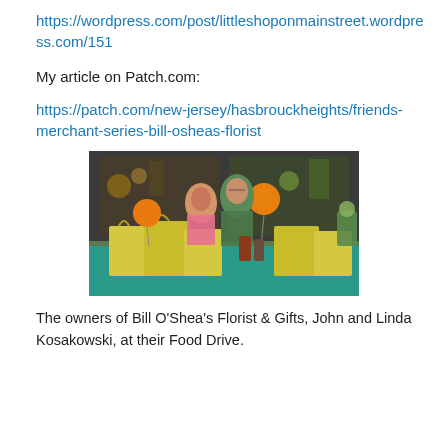https://wordpress.com/post/littleshoponmainstreet.wordpress.com/151
My article on Patch.com:
https://patch.com/new-jersey/hasbrouckheights/friends-merchant-series-bill-osheas-florist
[Figure (photo): Two people (John and Linda Kosakowski, owners of Bill O'Shea's Florist & Gifts) standing behind a table with yellow grocery bags and food drive items, orange balloons visible, colorful flower shop décor in background.]
The owners of Bill O'Shea's Florist & Gifts, John and Linda Kosakowski, at their Food Drive.